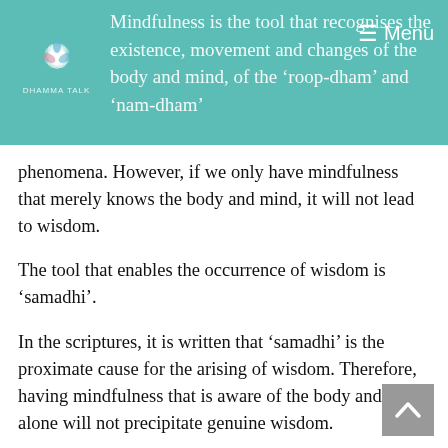Mindfulness is the tool that recognises the existence, movement and changes of the body and mind, of the 'roop-dham' and 'nam-dham' phenomena. However, if we only have mindfulness that merely knows the body and mind, it will not lead to wisdom.
phenomena. However, if we only have mindfulness that merely knows the body and mind, it will not lead to wisdom.
The tool that enables the occurrence of wisdom is ‘samadhi’.
In the scriptures, it is written that ‘samadhi’ is the proximate cause for the arising of wisdom. Therefore, having mindfulness that is aware of the body and mind alone will not precipitate genuine wisdom.
Decades ago, I taught my friends how to be aware of one’s self. When they have self-awareness only then can see the true body and mind. This being self-aware, is the mind